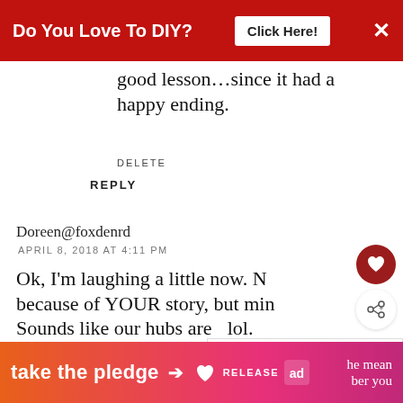[Figure (other): Red ad banner at top: 'Do You Love To DIY? Click Here!' with close X button]
good lesson…since it had a happy ending.
DELETE
REPLY
Doreen@foxdenrd
APRIL 8, 2018 AT 4:11 PM
Ok, I'm laughing a little now. Not because of YOUR story, but mine. Sounds like our hubs are twins lol.
[Figure (other): Orange-pink gradient bottom ad banner: 'take the pledge —>' with Release and ad logos]
[Figure (other): WHAT'S NEXT panel with thumbnail: My Thrift Store Stinks]